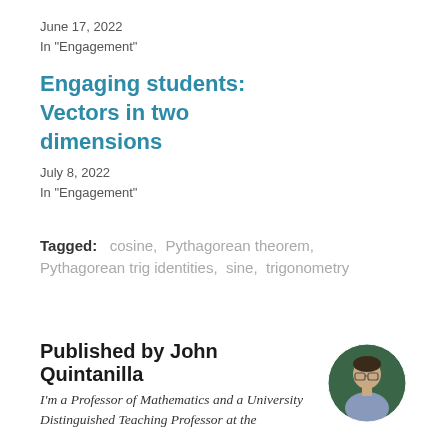June 17, 2022
In "Engagement"
Engaging students: Vectors in two dimensions
July 8, 2022
In "Engagement"
Tagged:   cosine,  Pythagorean theorem,  Pythagorean trig identities,  sine,  trigonometry
Published by John Quintanilla
I'm a Professor of Mathematics and a University Distinguished Teaching Professor at the